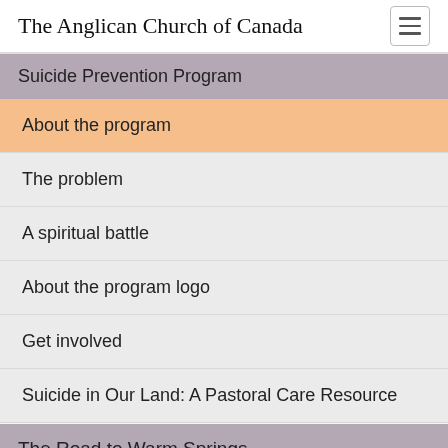The Anglican Church of Canada
Suicide Prevention Program
About the program
The problem
A spiritual battle
About the program logo
Get involved
Suicide in Our Land: A Pastoral Care Resource
The Road to Warm Springs
[Figure (logo): Anglican Church of Canada circular logo/crest at bottom center]